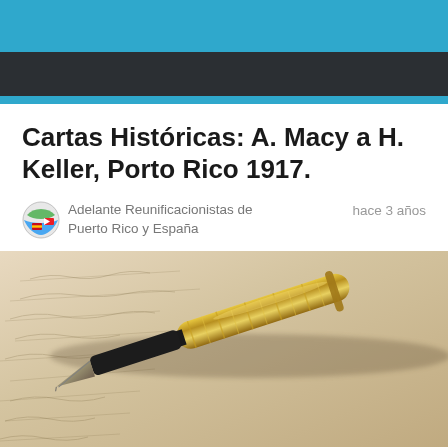Cartas Históricas: A. Macy a H. Keller, Porto Rico 1917.
Adelante Reunificacionistas de Puerto Rico y España
hace 3 años
[Figure (photo): Close-up photograph of a vintage gold fountain pen resting on aged handwritten cursive text on old paper]